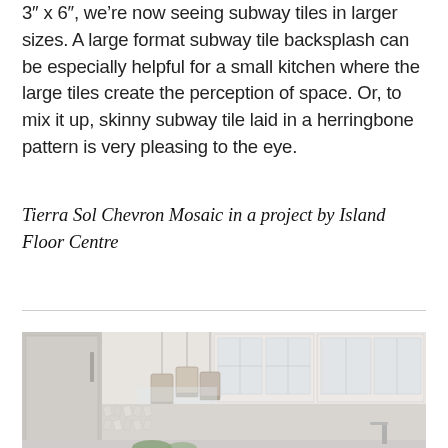3″ x 6″, we're now seeing subway tiles in larger sizes. A large format subway tile backsplash can be especially helpful for a small kitchen where the large tiles create the perception of space. Or, to mix it up, skinny subway tile laid in a herringbone pattern is very pleasing to the eye.
Tierra Sol Chevron Mosaic in a project by Island Floor Centre
[Figure (photo): Kitchen interior photo showing white cabinets with glass fronts, pendant lights hanging above, a mosaic tile backsplash, and a stainless steel refrigerator on the left.]